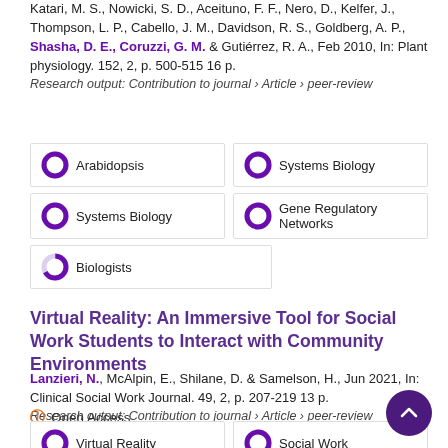Katari, M. S., Nowicki, S. D., Aceituno, F. F., Nero, D., Kelfer, J., Thompson, L. P., Cabello, J. M., Davidson, R. S., Goldberg, A. P., Shasha, D. E., Coruzzi, G. M. & Gutiérrez, R. A., Feb 2010, In: Plant physiology. 152, 2, p. 500-515 16 p.
Research output: Contribution to journal › Article › peer-review
[Figure (infographic): Keyword badges with donut chart icons: Arabidopsis 100%, Systems Biology 100% (left column); Systems Biology 100%, Gene Regulatory Networks 100% (right column); Biologists 67% (left column only)]
Virtual Reality: An Immersive Tool for Social Work Students to Interact with Community Environments
Lanzieri, N., McAlpin, E., Shilane, D. & Samelson, H., Jun 2021, In: Clinical Social Work Journal. 49, 2, p. 207-219 13 p.
Research output: Contribution to journal › Article › peer-review
Open Access
[Figure (infographic): Keyword badges: Virtual Reality 100%, Social Work 100% (top row); Virtual Reality ~67%, Social Work ~50% (bottom row, partially visible)]